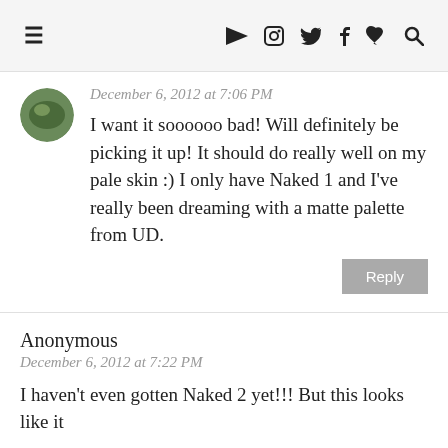≡  ▶  📷  𝕏  f  ♥  🔍
December 6, 2012 at 7:06 PM
I want it soooooo bad! Will definitely be picking it up! It should do really well on my pale skin :) I only have Naked 1 and I've really been dreaming with a matte palette from UD.
Anonymous
December 6, 2012 at 7:22 PM
I haven't even gotten Naked 2 yet!!! But this looks like it